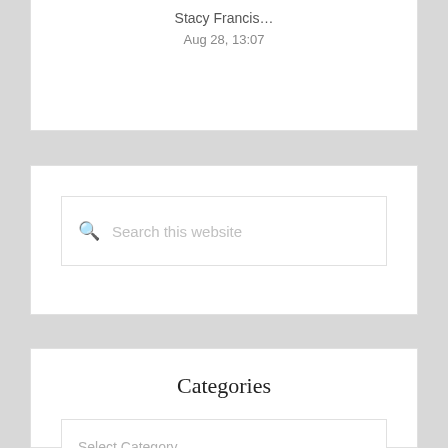Stacy Francis…
Aug 28, 13:07
[Figure (screenshot): Search box with placeholder text 'Search this website' and a magnifying glass icon]
Categories
Select Category